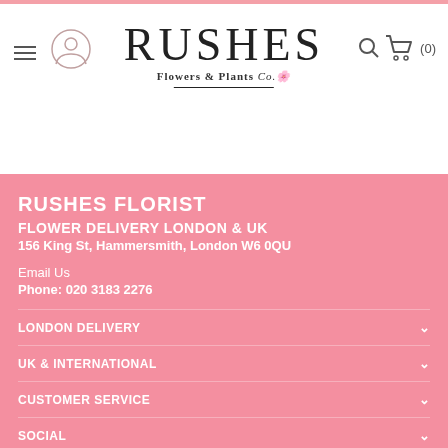[Figure (logo): RUSHES Flowers & Plants Co. logo with user icon, hamburger menu, search icon and cart (0)]
RUSHES FLORIST
FLOWER DELIVERY LONDON & UK
156 King St, Hammersmith, London W6 0QU
Email Us
Phone: 020 3183 2276
LONDON DELIVERY
UK & INTERNATIONAL
CUSTOMER SERVICE
SOCIAL